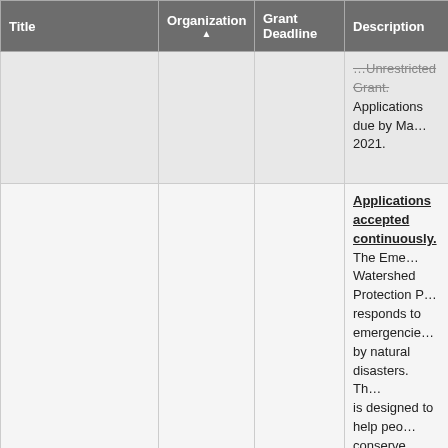| Title | Organization ▲ | Grant Deadline | Description |
| --- | --- | --- | --- |
|  |  |  | …Unrestricted Grant. Applications due by Ma… 2021. |
| Emergency Watershed Protection Program | USDA |  | Applications accepted continuously. The Eme… Watershed Protection P… responds to emergencie… by natural disasters. Th… is designed to help peo… conserve natural resour… relieving imminent haza… and property caused by… fires, windstorms, and o… natural occurrences. All… undertaken, with the ex… the purchase of floodpla… easements, must have … sponsor. |
|  |  |  | Applications are acce… round. Provides loans a… to Microenterprise Dev… |